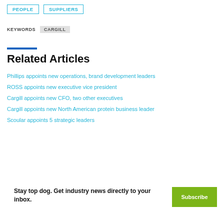PEOPLE
SUPPLIERS
KEYWORDS   CARGILL
Related Articles
Phillips appoints new operations, brand development leaders
ROSS appoints new executive vice president
Cargill appoints new CFO, two other executives
Cargill appoints new North American protein business leader
Scoular appoints 5 strategic leaders
Stay top dog. Get industry news directly to your inbox.